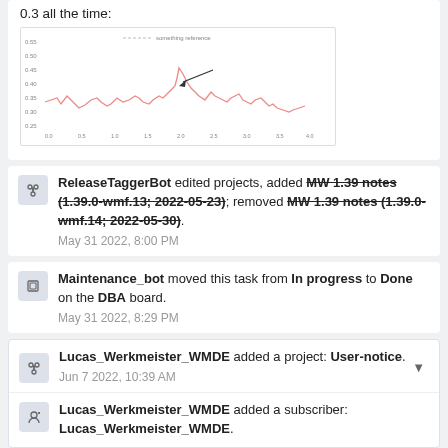0.3 all the time:
[Figure (continuous-plot): Line chart showing a metric over time, with a red jagged line and a small arrow annotation pointing to a spike area. The line fluctuates around a baseline with notable peaks.]
ReleaseTaggerBot edited projects, added MW 1.39 notes (1.39.0-wmf.13; 2022-05-23); removed MW 1.39 notes (1.39.0-wmf.14; 2022-05-30).
May 31 2022, 8:00 PM
Maintenance_bot moved this task from In progress to Done on the DBA board.
May 31 2022, 8:29 PM
Lucas_Werkmeister_WMDE added a project: User-notice.
Jun 7 2022, 10:39 AM
Lucas_Werkmeister_WMDE added a subscriber: Lucas_Werkmeister_WMDE.
Would be nice to have this in Tech News, some Quarry queries use